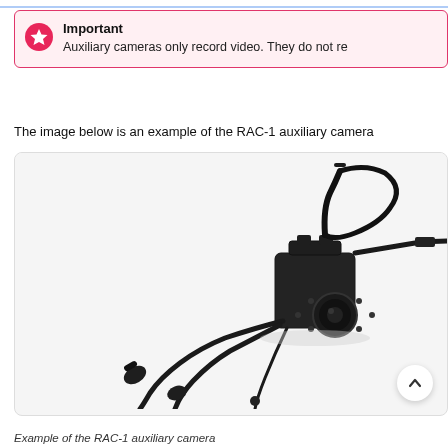Important
Auxiliary cameras only record video. They do not re
The image below is an example of the RAC-1 auxiliary camera
[Figure (photo): Photo of a RAC-1 auxiliary camera with antenna, mounting bracket, lens with IR LEDs, and multiple connector cables]
Example of the RAC-1 auxiliary camera